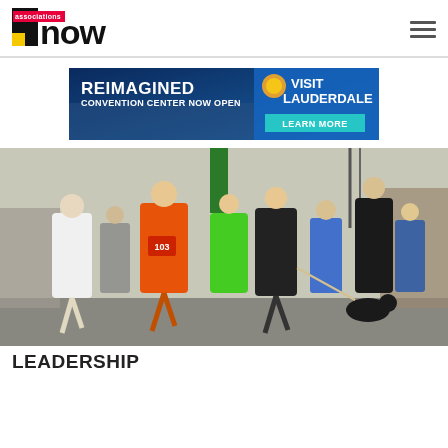associations now
[Figure (infographic): Advertisement banner for Visit Lauderdale: REIMAGINED CONVENTION CENTER NOW OPEN with LEARN MORE button]
[Figure (photo): Group of runners in a road race, including a man in an orange jersey with bib number 103 and a black dog on a leash]
LEADERSHIP